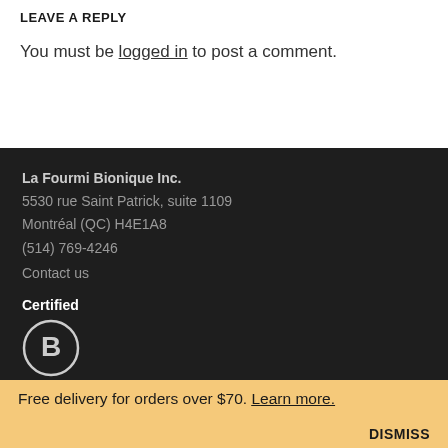LEAVE A REPLY
You must be logged in to post a comment.
La Fourmi Bionique Inc.
5530 rue Saint Patrick, suite 1109
Montréal (QC) H4E1A8
(514) 769-4246
Contact us
Certified
[Figure (logo): Certified B Corporation circular logo badge in white outline on dark background]
Free delivery for orders over $70. Learn more.
DISMISS